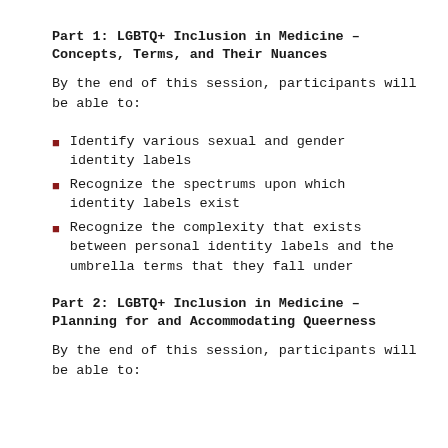Part 1: LGBTQ+ Inclusion in Medicine – Concepts, Terms, and Their Nuances
By the end of this session, participants will be able to:
Identify various sexual and gender identity labels
Recognize the spectrums upon which identity labels exist
Recognize the complexity that exists between personal identity labels and the umbrella terms that they fall under
Part 2: LGBTQ+ Inclusion in Medicine – Planning for and Accommodating Queerness
By the end of this session, participants will be able to: